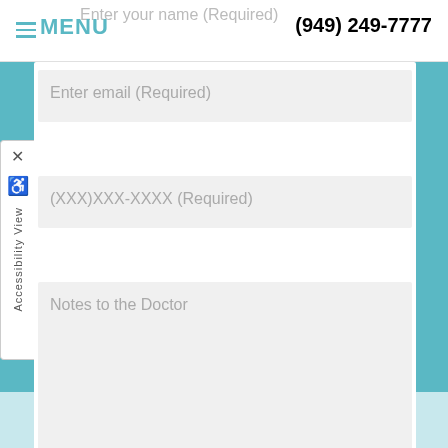MENU  (949) 249-7777
Enter your name (Required)
Enter email (Required)
(XXX)XXX-XXXX (Required)
Notes to the Doctor
SUBMIT